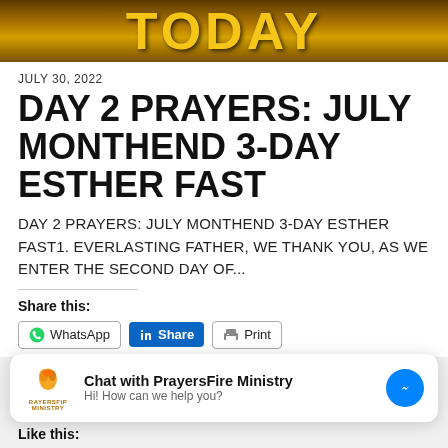[Figure (photo): Banner image with large stylized text on a golden-brown background, partially cropped at top]
JULY 30, 2022
DAY 2 PRAYERS: JULY MONTHEND 3-DAY ESTHER FAST
DAY 2 PRAYERS: JULY MONTHEND 3-DAY ESTHER FAST1. EVERLASTING FATHER, WE THANK YOU, AS WE ENTER THE SECOND DAY OF...
Share this:
WhatsApp  Share  Print
[Figure (screenshot): Chat widget popup: PrayersFire Ministry logo, text 'Chat with PrayersFire Ministry' and 'Hi! How can we help you?', with Messenger icon button]
Like this: